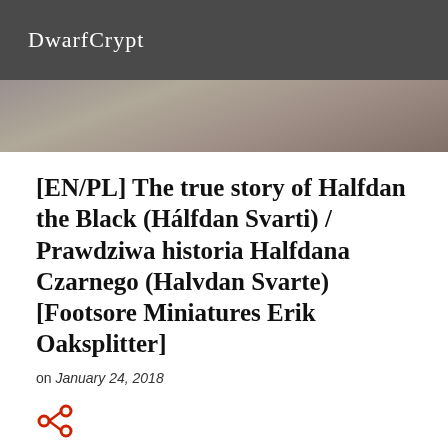DwarfCrypt
[Figure (photo): Blurred hero background image area beneath the header bar]
[EN/PL] The true story of Halfdan the Black (Hálfdan Svarti) / Prawdziwa historia Halfdana Czarnego (Halvdan Svarte) [Footsore Miniatures Erik Oaksplitter]
on January 24, 2018
[Figure (illustration): Red share/social icon (less-than bracket style share icon)]
[Figure (photo): Bottom portion of a Dwarf Crypt branded image — dark aged parchment with logo text 'Dwarf Crypt by Michal Kucharski' and miniature figure silhouettes]